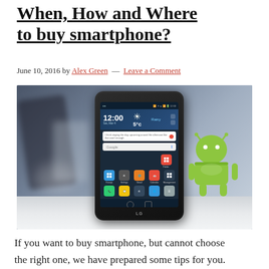When, How and Where to buy smartphone?
June 10, 2016 by Alex Green — Leave a Comment
[Figure (photo): An LG smartphone displaying the Android home screen with a Google search bar, weather widget showing 12:00 and 5°C, app icons including Settings, Calendar, and other apps. Next to the phone stands a green Android mascot figurine. Both are placed on a white surface with a blurred dark background.]
If you want to buy smartphone, but cannot choose the right one, we have prepared some tips for you.